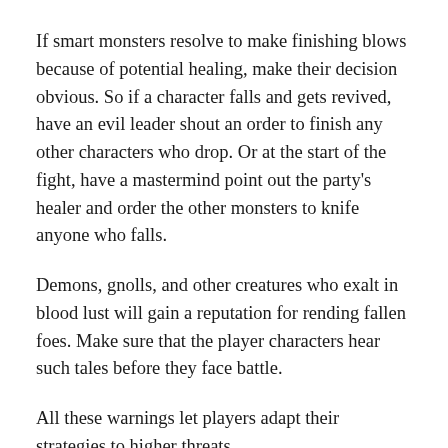If smart monsters resolve to make finishing blows because of potential healing, make their decision obvious. So if a character falls and gets revived, have an evil leader shout an order to finish any other characters who drop. Or at the start of the fight, have a mastermind point out the party's healer and order the other monsters to knife anyone who falls.
Demons, gnolls, and other creatures who exalt in blood lust will gain a reputation for rending fallen foes. Make sure that the player characters hear such tales before they face battle.
All these warnings let players adapt their strategies to higher threats.
In most D&D games, players treat fallen characters with little urgency. Three strikes usually take a string of bad luck and a several turns to accumulate. Players often choose to make an attack over spending a turn pouring a healing potion into an ally. They expect plenty of time for healing after the fight.